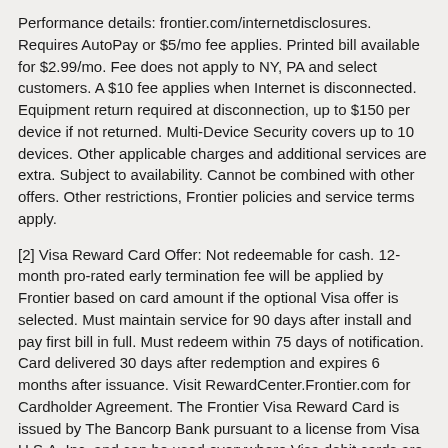Performance details: frontier.com/internetdisclosures. Requires AutoPay or $5/mo fee applies. Printed bill available for $2.99/mo. Fee does not apply to NY, PA and select customers. A $10 fee applies when Internet is disconnected. Equipment return required at disconnection, up to $150 per device if not returned. Multi-Device Security covers up to 10 devices. Other applicable charges and additional services are extra. Subject to availability. Cannot be combined with other offers. Other restrictions, Frontier policies and service terms apply.
[2] Visa Reward Card Offer: Not redeemable for cash. 12-month pro-rated early termination fee will be applied by Frontier based on card amount if the optional Visa offer is selected. Must maintain service for 90 days after install and pay first bill in full. Must redeem within 75 days of notification. Card delivered 30 days after redemption and expires 6 months after issuance. Visit RewardCenter.Frontier.com for Cardholder Agreement. The Frontier Visa Reward Card is issued by The Bancorp Bank pursuant to a license from Visa U.S.A. Inc. and can be used everywhere Visa debit cards are accepted. No cash access. The Bancorp Bank; Member FDIC. The Bancorp Bank does not endorse or sponsor and is not affiliated in any way with any product or service offered by Frontier Communications.